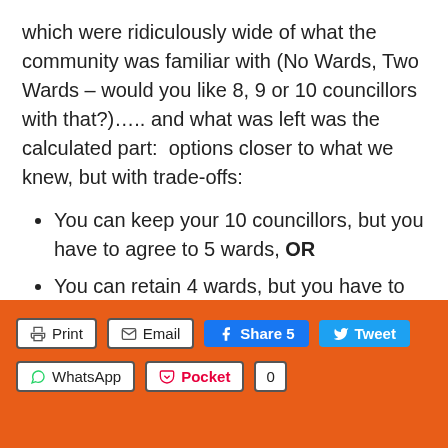which were ridiculously wide of what the community was familiar with (No Wards, Two Wards – would you like 8, 9 or 10 councillors with that?)….. and what was left was the calculated part:  options closer to what we knew, but with trade-offs:
You can keep your 10 councillors, but you have to agree to 5 wards, OR
You can retain 4 wards, but you have to agree to let 2 councillor positions go
Print  Email  Share 5  Tweet  WhatsApp  Pocket  0